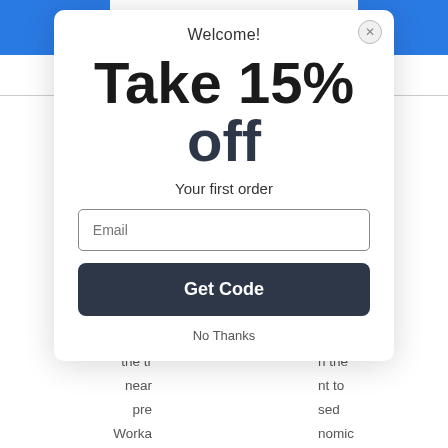[Figure (screenshot): Blue decorative shapes at top-left and top-right corners of page background]
Whe
future,
the tr
near
pre
Worka
br
f the
ce. No,
n the
nt to
sed
nomic
m
Welcome!
Take 15% off
Your first order
Email
Get Code
No Thanks